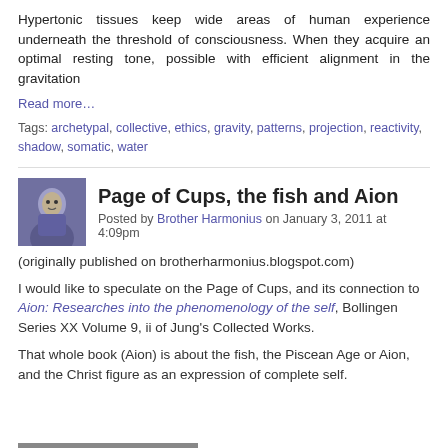Hypertonic tissues keep wide areas of human experience underneath the threshold of consciousness. When they acquire an optimal resting tone, possible with efficient alignment in the gravitation
Read more…
Tags: archetypal, collective, ethics, gravity, patterns, projection, reactivity, shadow, somatic, water
Page of Cups, the fish and Aion
Posted by Brother Harmonius on January 3, 2011 at 4:09pm
(originally published on brotherharmonius.blogspot.com)
I would like to speculate on the Page of Cups, and its connection to Aion: Researches into the phenomenology of the self, Bollingen Series XX Volume 9, ii of Jung's Collected Works.
That whole book (Aion) is about the fish, the Piscean Age or Aion, and the Christ figure as an expression of complete self.